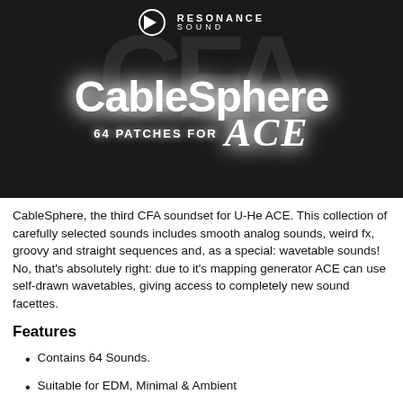[Figure (illustration): Dark promotional banner for CableSphere ACE soundset by Resonance Sound. Features large ghosted 'CFA' text in background, 'CableSphere' title in glowing white text, 'ACE' in italic script, and '64 PATCHES FOR' subheading. Resonance Sound logo in top center.]
CableSphere, the third CFA soundset for U-He ACE. This collection of carefully selected sounds includes smooth analog sounds, weird fx, groovy and straight sequences and, as a special: wavetable sounds! No, that's absolutely right: due to it's mapping generator ACE can use self-drawn wavetables, giving access to completely new sound facettes.
Features
Contains 64 Sounds.
Suitable for EDM, Minimal & Ambient
Economic CPU Usage